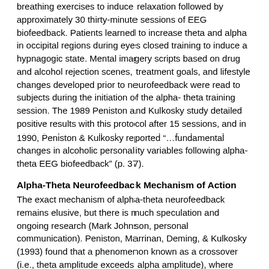breathing exercises to induce relaxation followed by approximately 30 thirty-minute sessions of EEG biofeedback. Patients learned to increase theta and alpha in occipital regions during eyes closed training to induce a hypnagogic state. Mental imagery scripts based on drug and alcohol rejection scenes, treatment goals, and lifestyle changes developed prior to neurofeedback were read to subjects during the initiation of the alpha-theta training session. The 1989 Peniston and Kulkosky study detailed positive results with this protocol after 15 sessions, and in 1990, Peniston & Kulkosky reported “…fundamental changes in alcoholic personality variables following alpha-theta EEG biofeedback” (p. 37).
Alpha-Theta Neurofeedback Mechanism of Action
The exact mechanism of alpha-theta neurofeedback remains elusive, but there is much speculation and ongoing research (Mark Johnson, personal communication). Peniston, Marrinan, Deming, & Kulkosky (1993) found that a phenomenon known as a crossover (i.e., theta amplitude exceeds alpha amplitude), where participants may experience vivid, healing emotional experiences, contributed heavily to treatment success. Another possibility for these dramatic results advocated by Peniston and Kulkosky (1989; 1990) is that alpha-theta neurofeedback counteracts increased beta-endorphin levels related to the stress of abstinence. However, at the present time, the precise mechanism(s) of action in the Peniston Protocol remain unknown (Gruzelier & Egner,